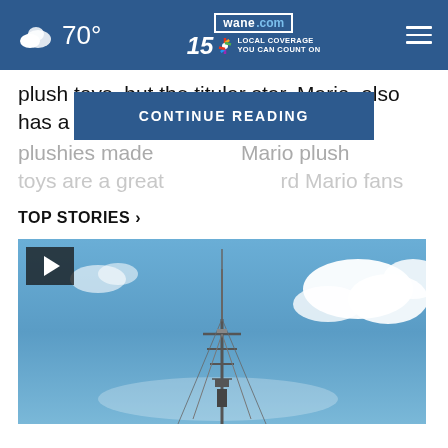70° wane.com 15 LOCAL COVERAGE YOU CAN COUNT ON
plush toys, but the titular star, Mario, also has a ton of plushies made Mario plush toys are a great rd Mario fans
CONTINUE READING
TOP STORIES ›
[Figure (photo): Sky with clouds and a broadcast tower/antenna, with a video play button overlay in the top left]